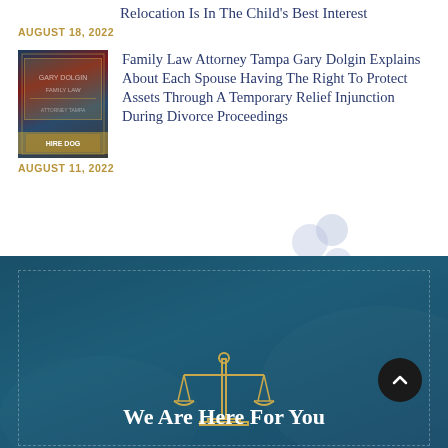Relocation Is In The Child’s Best Interest
AUGUST 18, 2022
[Figure (photo): Thumbnail image for article about child relocation]
Family Law Attorney Tampa Gary Dolgin Explains About Each Spouse Having The Right To Protect Assets Through A Temporary Relief Injunction During Divorce Proceedings
AUGUST 11, 2022
[Figure (illustration): Scales of justice icon in gold outline on dark teal banner background with text We Are Here For You]
We Are Here For You